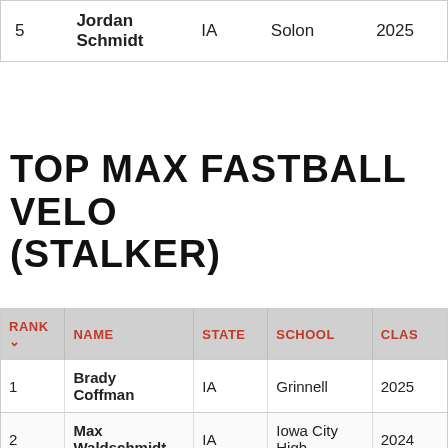|  | NAME | STATE | SCHOOL | CLASS |
| --- | --- | --- | --- | --- |
| 5 | Jordan Schmidt | IA | Solon | 2025 |
TOP MAX FASTBALL VELO (STALKER)
| RANK | NAME | STATE | SCHOOL | CLASS |
| --- | --- | --- | --- | --- |
| 1 | Brady Coffman | IA | Grinnell | 2025 |
| 2 | Max Waldschmidt | IA | Iowa City High | 2024 |
| 3 | Karter | IA | N... | 2023 |